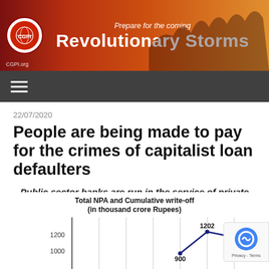Prepare for the coming Revolutionary Storms — CGPI.org
22/07/2020
People are being made to pay for the crimes of capitalist loan defaulters
Public sector banks are run in the service of private capitalist corporations
[Figure (line-chart): Total NPA and Cumulative write-off (in thousand crore Rupees)]